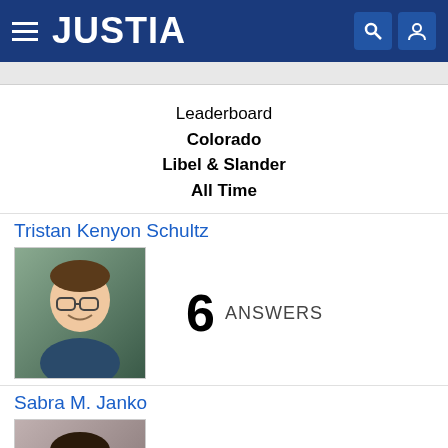JUSTIA
Leaderboard
Colorado
Libel & Slander
All Time
Tristan Kenyon Schultz
[Figure (photo): Photo of Tristan Kenyon Schultz, a man with glasses smiling]
6 ANSWERS
Sabra M. Janko
[Figure (photo): Photo of Sabra M. Janko, a woman with dark hair smiling]
2 ANSWERS